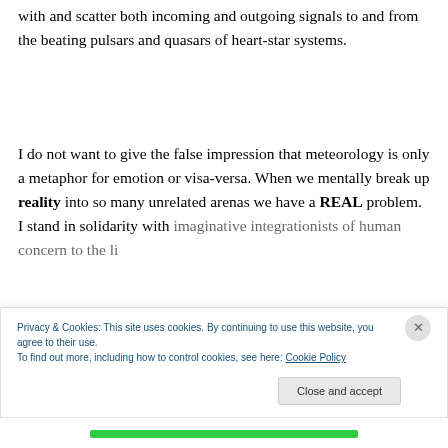with and scatter both incoming and outgoing signals to and from the beating pulsars and quasars of heart-star systems.
I do not want to give the false impression that meteorology is only a metaphor for emotion or visa-versa. When we mentally break up reality into so many unrelated arenas we have a REAL problem. I stand in solidarity with [continues...]
Privacy & Cookies: This site uses cookies. By continuing to use this website, you agree to their use.
To find out more, including how to control cookies, see here: Cookie Policy